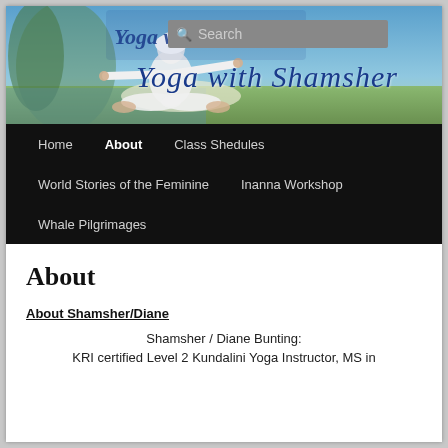[Figure (photo): Website header banner with a person in white clothing sitting cross-legged outdoors with arms outstretched, blue sky and green meadow background, with cursive text 'Yoga with Shamsher' overlaid]
Search
Yoga with Shamsher
Home | About | Class Shedules | World Stories of the Feminine | Inanna Workshop | Whale Pilgrimages
About
About Shamsher/Diane
Shamsher / Diane Bunting:
KRI certified Level 2 Kundalini Yoga Instructor, MS in